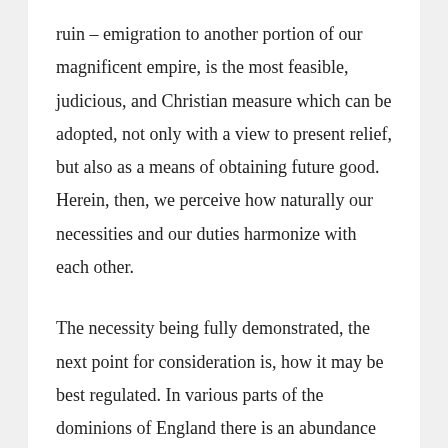ruin – emigration to another portion of our magnificent empire, is the most feasible, judicious, and Christian measure which can be adopted, not only with a view to present relief, but also as a means of obtaining future good. Herein, then, we perceive how naturally our necessities and our duties harmonize with each other.

The necessity being fully demonstrated, the next point for consideration is, how it may be best regulated. In various parts of the dominions of England there is an abundance of waste land –